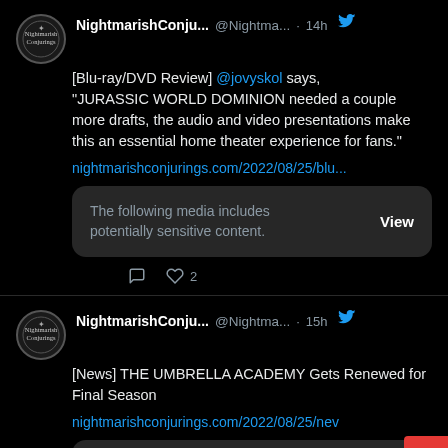NightmarishConju... @Nightma... · 14h [Blu-ray/DVD Review] @jovyskol says, "JURASSIC WORLD DOMINION needed a couple more drafts, the audio and video presentations make this an essential home theater experience for fans."
nightmarishconjurings.com/2022/08/25/blu...
The following media includes potentially sensitive content. View
NightmarishConju... @Nightma... · 15h [News] THE UMBRELLA ACADEMY Gets Renewed for Final Season
nightmarishconjurings.com/2022/08/25/nev...
The following media includes